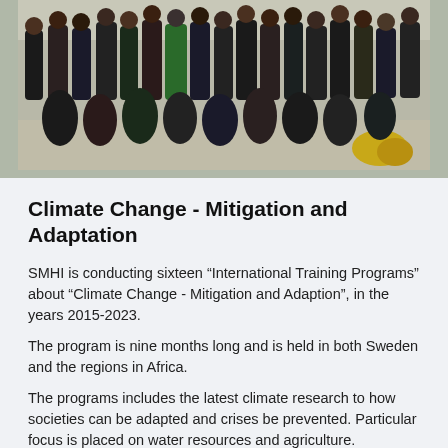[Figure (photo): Group photo of multiple people (approximately 20-25 individuals) posed together outdoors on a sunny day. They are arranged in rows, some kneeling in front and others standing behind. Many are wearing casual clothes; one person in a green shirt is visible. The background shows a light-colored ground or pavement with some yellow flowering plants visible.]
Climate Change - Mitigation and Adaptation
SMHI is conducting sixteen “International Training Programs” about “Climate Change - Mitigation and Adaption”, in the years 2015-2023.
The program is nine months long and is held in both Sweden and the regions in Africa.
The programs includes the latest climate research to how societies can be adapted and crises be prevented. Particular focus is placed on water resources and agriculture.